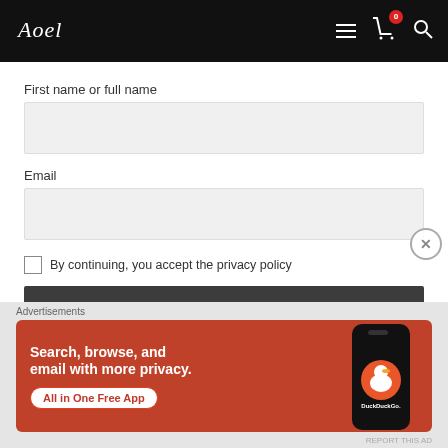Navigation bar with logo and icons (hamburger, cart with 0 badge, search)
First name or full name
Email
By continuing, you accept the privacy policy
Subscribe
Advertisements
[Figure (screenshot): DuckDuckGo advertisement banner: orange/red background with white bold text 'Search, browse, and email with more privacy.' and 'All in One Free App' CTA button, plus a phone mockup with DuckDuckGo logo on the right side.]